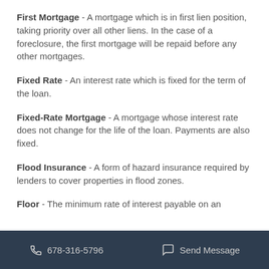First Mortgage - A mortgage which is in first lien position, taking priority over all other liens. In the case of a foreclosure, the first mortgage will be repaid before any other mortgages.
Fixed Rate - An interest rate which is fixed for the term of the loan.
Fixed-Rate Mortgage - A mortgage whose interest rate does not change for the life of the loan. Payments are also fixed.
Flood Insurance - A form of hazard insurance required by lenders to cover properties in flood zones.
Floor - The minimum rate of interest payable on an
678-316-5796   Send Message